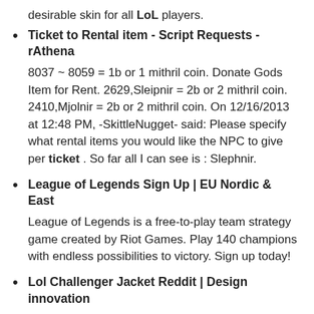desirable skin for all LoL players.
Ticket to Rental item - Script Requests - rAthena
8037 ~ 8059 = 1b or 1 mithril coin. Donate Gods Item for Rent. 2629,Sleipnir = 2b or 2 mithril coin. 2410,Mjolnir = 2b or 2 mithril coin. On 12/16/2013 at 12:48 PM, -SkittleNugget- said: Please specify what rental items you would like the NPC to give per ticket . So far all I can see is : Slephnir.
League of Legends Sign Up | EU Nordic & East
League of Legends is a free-to-play team strategy game created by Riot Games. Play 140 champions with endless possibilities to victory. Sign up today!
Lol Challenger Jacket Reddit | Design innovation
I talked to him on QQ and he says S6 LOL Challenger jacket is 1200RMB and i . If you have